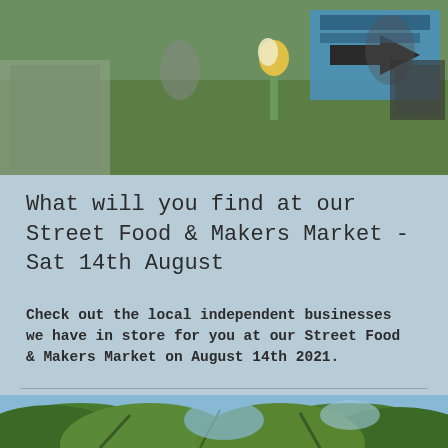[Figure (photo): Outdoor street food market scene with green grass, signs reading 'Street Food & Market' with an arrow, flowers in a vase, and people in background]
What will you find at our Street Food & Makers Market - Sat 14th August
Check out the local independent businesses we have in store for you at our Street Food & Makers Market on August 14th 2021.
[Figure (photo): Outdoor tree canopy photo showing green leafy trees and blue sky]